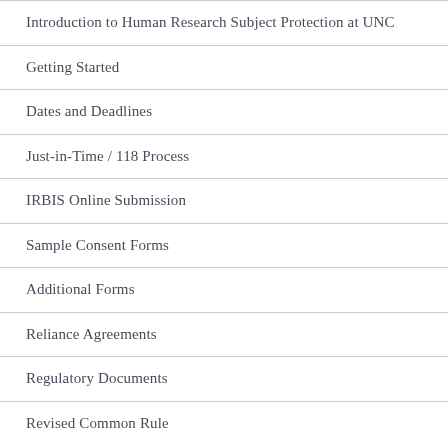Introduction to Human Research Subject Protection at UNC
Getting Started
Dates and Deadlines
Just-in-Time / 118 Process
IRBIS Online Submission
Sample Consent Forms
Additional Forms
Reliance Agreements
Regulatory Documents
Revised Common Rule